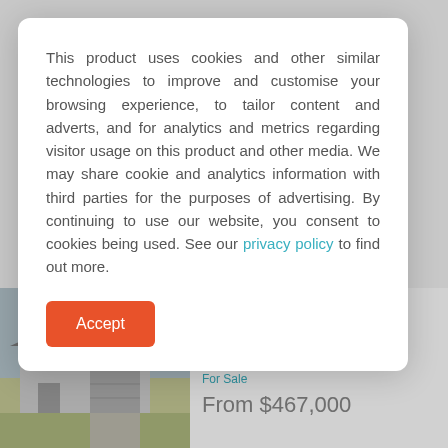[Figure (screenshot): Background showing real estate listing page with property at 121 Elderberry Drive (3 bed/1 bath/1 garage, For Sale, From $467,000) with a house photo, and partial listing for 3 Allamanda Drive (3 bed/1 bath/2 garage, For Sale, From $495,000)]
This product uses cookies and other similar technologies to improve and customise your browsing experience, to tailor content and adverts, and for analytics and metrics regarding visitor usage on this product and other media. We may share cookie and analytics information with third parties for the purposes of advertising. By continuing to use our website, you consent to cookies being used. See our privacy policy to find out more.
Accept